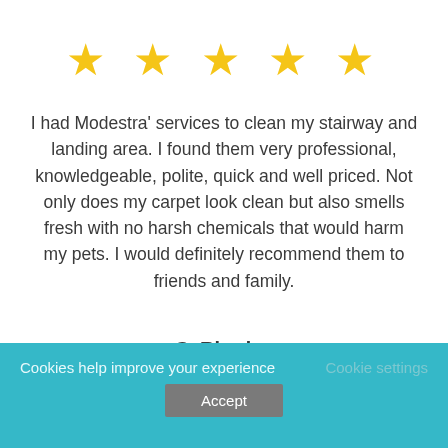[Figure (other): Five gold star rating icons in a row]
I had Modestra' services to clean my stairway and landing area. I found them very professional, knowledgeable, polite, quick and well priced. Not only does my carpet look clean but also smells fresh with no harsh chemicals that would harm my pets. I would definitely recommend them to friends and family.
C. Rhodes
[Figure (other): Five gold star rating icons in a row (partially visible, second review)]
Cookies help improve your experience
Cookie settings
Accept